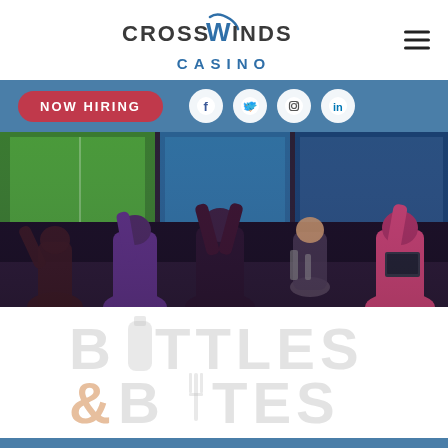[Figure (logo): CrossWinds Casino logo with stylized W and checkmark, text CASINO below in blue]
[Figure (infographic): Navigation bar with NOW HIRING button in red/pink and social media icons (Facebook, Twitter, Instagram, LinkedIn) on blue background]
[Figure (photo): Bar/sports scene photo showing people raising hands cheering in front of large TV screens showing sports, bartender in background]
[Figure (logo): Bottles & Bites logo in large light gray text with bottle and fork icons replacing letters, ampersand in orange]
[Figure (other): Blue bar at bottom of page]